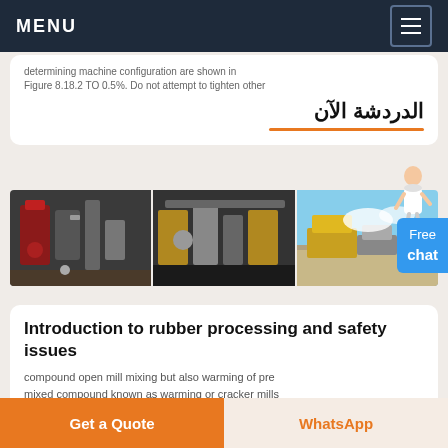MENU
determining machine configuration are shown in Figure 8.18.2 TO 0.5%. Do not attempt to tighten other
الدردشة الآن
[Figure (photo): Three industrial machinery photos side by side: left shows red and grey industrial equipment, middle shows yellow and grey heavy machinery in a warehouse, right shows outdoor quarry/crushing equipment with blue sky]
Introduction to rubber processing and safety issues
compound open mill mixing but also warming of pre mixed compound known as warming or cracker mills
اqu تعمل
Get a Quote
WhatsApp